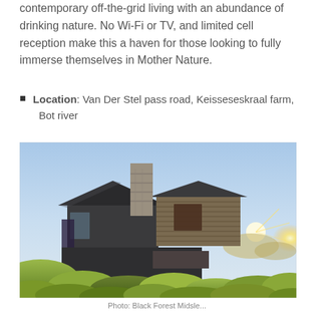contemporary off-the-grid living with an abundance of drinking nature. No Wi-Fi or TV, and limited cell reception make this a haven for those looking to fully immerse themselves in Mother Nature.
Location: Van Der Stel pass road, Keisseseskraal farm, Bot river
[Figure (photo): Exterior photograph of a modern off-grid house with dark metal cladding and a stone chimney, surrounded by low fynbos vegetation, taken at sunset with warm golden light shining from the right side.]
Photo: Black Forest Midsle...